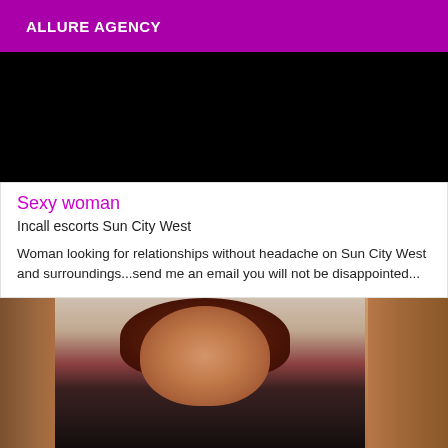ALLURE AGENCY
[Figure (photo): Dark/black image at the top of the card, appears to be a heavily shadowed or blacked-out photo]
Sexy woman
Incall escorts Sun City West
Woman looking for relationships without headache on Sun City West and surroundings...send me an email you will not be disappointed...
[Figure (photo): Photo of a woman with red/auburn hair, wearing dark clothing, smiling, standing near wooden panels and a sign in the background]